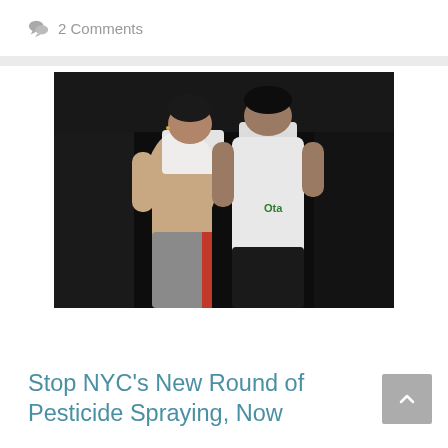💬 2 Comments
[Figure (photo): Two people standing outdoors at night, both covering their mouths and noses with white cloths or shirts, apparently protecting themselves from pesticide spray. One person is shirtless with grey and red athletic pants; the other wears a white t-shirt.]
Stop NYC's New Round of Pesticide Spraying, Now